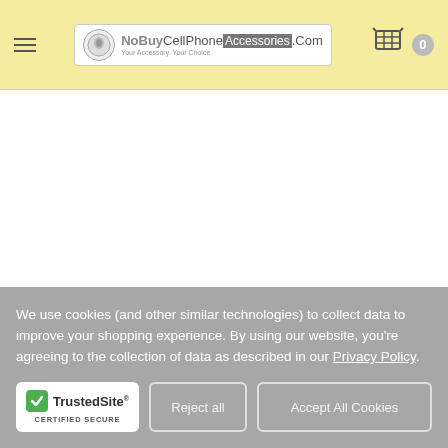[Figure (logo): NoBuyCellPhoneAccessories.Com website header with hamburger menu, logo, and cart icon on yellow background]
We use cookies (and other similar technologies) to collect data to improve your shopping experience. By using our website, you're agreeing to the collection of data as described in our Privacy Policy.
[Figure (logo): TrustedSite Certified Secure badge with green checkmark]